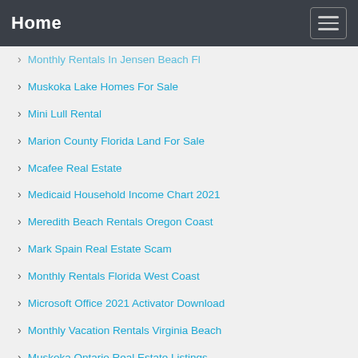Home
Monthly Rentals In Jensen Beach Fl
Muskoka Lake Homes For Sale
Mini Lull Rental
Marion County Florida Land For Sale
Mcafee Real Estate
Medicaid Household Income Chart 2021
Meredith Beach Rentals Oregon Coast
Mark Spain Real Estate Scam
Monthly Rentals Florida West Coast
Microsoft Office 2021 Activator Download
Monthly Vacation Rentals Virginia Beach
Muskoka Ontario Real Estate Listings
Moosehead Area Rentals